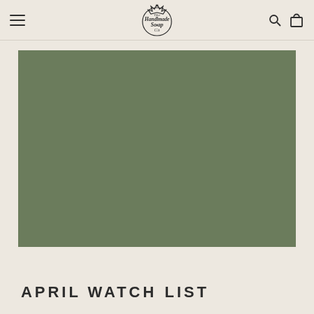The Handmade Soap Co — navigation header with menu, logo, search, and cart icons
[Figure (photo): Large rectangular image placeholder in muted olive/sage green color, representing a product or blog post photo for the April Watch List]
APRIL WATCH LIST